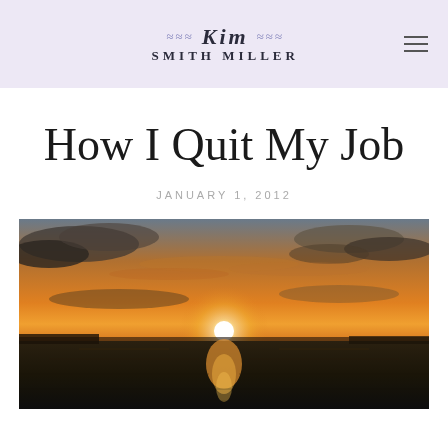Kim Smith Miller
How I Quit My Job
JANUARY 1, 2012
[Figure (photo): A dramatic ocean sunset photograph showing a bright white sun just above the horizon over dark water, with orange and golden sky and scattered clouds.]